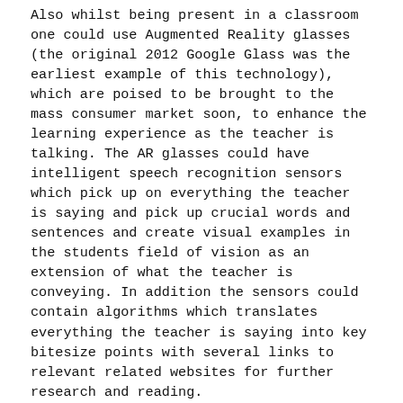Also whilst being present in a classroom one could use Augmented Reality glasses (the original 2012 Google Glass was the earliest example of this technology), which are poised to be brought to the mass consumer market soon, to enhance the learning experience as the teacher is talking. The AR glasses could have intelligent speech recognition sensors which pick up on everything the teacher is saying and pick up crucial words and sentences and create visual examples in the students field of vision as an extension of what the teacher is conveying. In addition the sensors could contain algorithms which translates everything the teacher is saying into key bitesize points with several links to relevant related websites for further research and reading.
Intelligent virtual teacher assistants, especially one which one could have an intelligent and deep two way conversation with (given time) is the holy grail